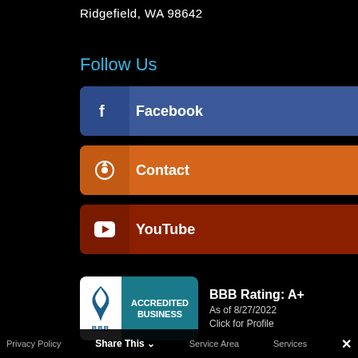Ridgefield, WA 98642
Follow Us
Facebook
Contact
YouTube
[Figure (logo): BBB Accredited Business badge with torch logo and teal background]
BBB Rating: A+
As of 8/27/2022
Click for Profile
Privacy Policy   Share This ∨   Service Area   Services   ✕